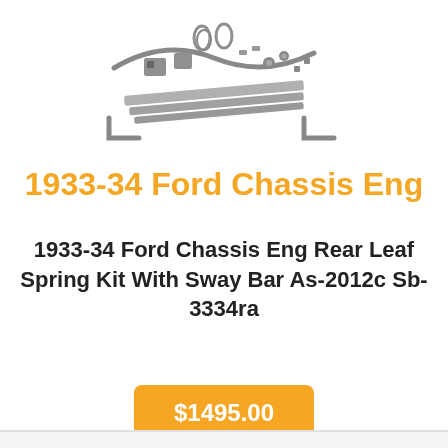[Figure (photo): Automotive parts kit showing leaf springs, brackets, hardware, and sway bar components spread out on white background]
1933-34 Ford Chassis Eng
1933-34 Ford Chassis Eng Rear Leaf Spring Kit With Sway Bar As-2012c Sb-3334ra
$1495.00